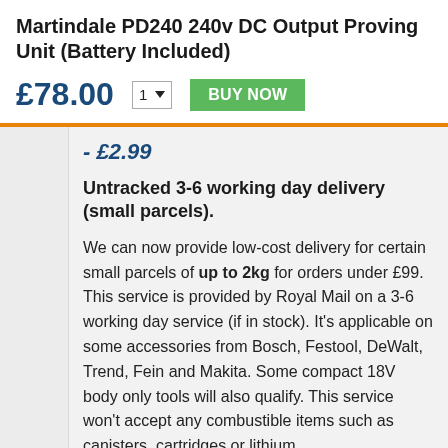Martindale PD240 240v DC Output Proving Unit (Battery Included)
£78.00
- £2.99
Untracked 3-6 working day delivery (small parcels).
We can now provide low-cost delivery for certain small parcels of up to 2kg for orders under £99. This service is provided by Royal Mail on a 3-6 working day service (if in stock). It's applicable on some accessories from Bosch, Festool, DeWalt, Trend, Fein and Makita. Some compact 18V body only tools will also qualify. This service won't accept any combustible items such as canisters, cartridges or lithium